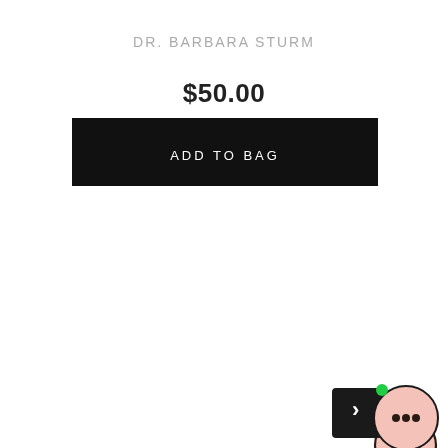DR. BARBARA STURM
$50.00
[Figure (screenshot): Black button with white text reading ADD TO BAG]
[Figure (illustration): Accessibility icon - person in wheelchair inside a pink circle with dark border]
[Figure (illustration): Chat/messaging widget icon - speech bubble inside a pink circle with green dot, overlapping a dark square with arrow]